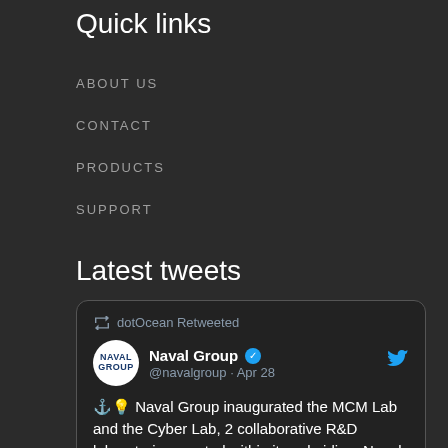Quick links
ABOUT US
CONTACT
PRODUCTS
SUPPORT
Latest tweets
[Figure (screenshot): Tweet card: dotOcean Retweeted. Naval Group (verified) @navalgroup · Apr 28. ⚓💡 Naval Group inaugurated the MCM Lab and the Cyber Lab, 2 collaborative R&D laboratories created within its subsidiary Naval Group Belgium. #navgeek]